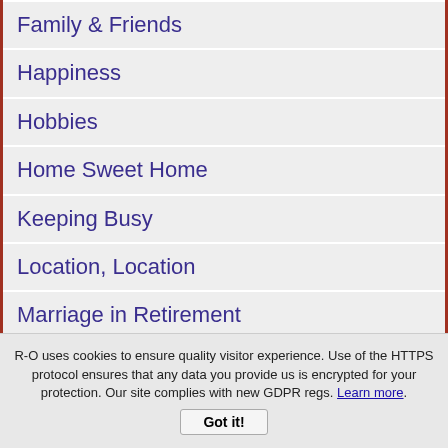Family & Friends
Happiness
Hobbies
Home Sweet Home
Keeping Busy
Location, Location
Marriage in Retirement
Memories
Money
Movies
Quotes 'n Jokes
Senior Pen Pals
Senior Scammers
R-O uses cookies to ensure quality visitor experience. Use of the HTTPS protocol ensures that any data you provide us is encrypted for your protection. Our site complies with new GDPR regs. Learn more.